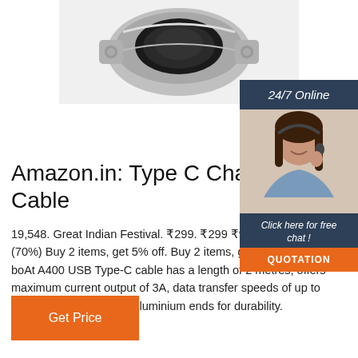[Figure (photo): Product photo of a metallic electrical connector/cable component, partially cropped at top]
[Figure (photo): Sidebar with '24/7 Online' header and photo of a smiling woman with headset, customer support chat widget with 'Click here for free chat!' text and QUOTATION button]
Amazon.in: Type C Char Cable
19,548. Great Indian Festival. ₹299. ₹299 ₹999 Save ₹700 (70%) Buy 2 items, get 5% off. Buy 2 items, get 5% off. The boAt A400 USB Type-C cable has a length of 2 metres, offers maximum current output of 3A, data transfer speeds of up to 480Mbps, and features aluminium ends for durability.
Get Price